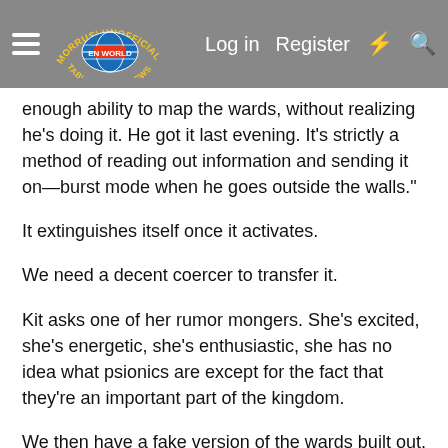Morrus' Unofficial Tabletop RPG News — Log in | Register
enough ability to map the wards, without realizing he's doing it. He got it last evening. It's strictly a method of reading out information and sending it on—burst mode when he goes outside the walls."
It extinguishes itself once it activates.
We need a decent coercer to transfer it.
Kit asks one of her rumor mongers. She's excited, she's energetic, she's enthusiastic, she has no idea what psionics are except for the fact that they're an important part of the kingdom.
We then have a fake version of the wards built out, designed to steer them into the strongest parts and make them waste all the resources on eliminating those areas...